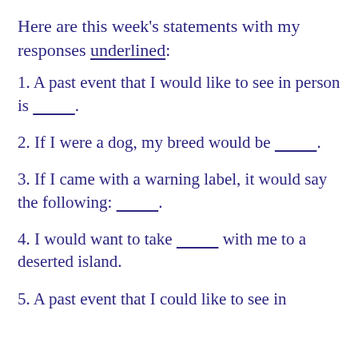Here are this week's statements with my responses underlined:
1. A past event that I would like to see in person is ___________.
2. If I were a dog, my breed would be ___________.
3. If I came with a warning label, it would say the following: ___________.
4. I would want to take ___________ with me to a deserted island.
5. A past event that I could like to see in